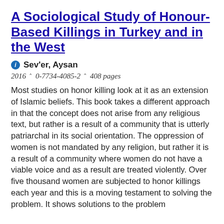A Sociological Study of Honour-Based Killings in Turkey and in the West
Sev'er, Aysan
2016 ▲ 0-7734-4085-2 ▲ 408 pages
Most studies on honor killing look at it as an extension of Islamic beliefs. This book takes a different approach in that the concept does not arise from any religious text, but rather is a result of a community that is utterly patriarchal in its social orientation. The oppression of women is not mandated by any religion, but rather it is a result of a community where women do not have a viable voice and as a result are treated violently. Over five thousand women are subjected to honor killings each year and this is a moving testament to solving the problem. It shows solutions to the problem